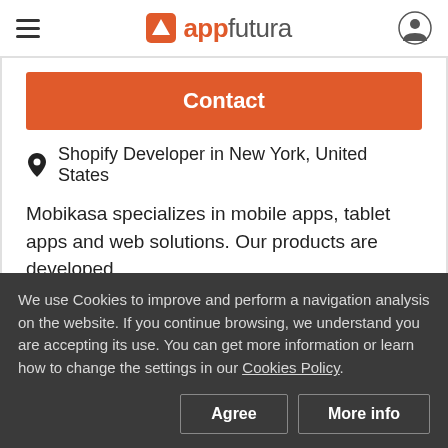appfutura
Contact
Shopify Developer in New York, United States
Mobikasa specializes in mobile apps, tablet apps and web solutions. Our products are developed using the most stringent technical standards and
We use Cookies to improve and perform a navigation analysis on the website. If you continue browsing, we understand you are accepting its use. You can get more information or learn how to change the settings in our Cookies Policy.
Agree
More info